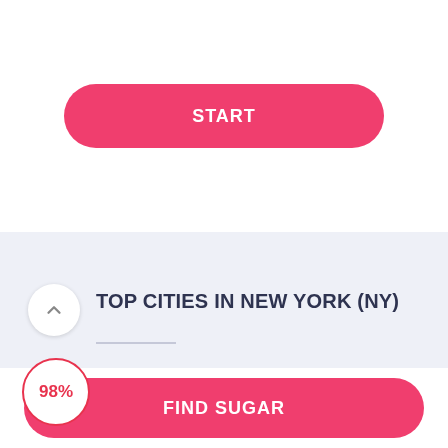[Figure (screenshot): Pink rounded START button on white background]
TOP CITIES IN NEW YORK (NY)
Albany
Buffalo
Rochester
[Figure (infographic): 98% badge circle in red]
[Figure (screenshot): Pink rounded FIND SUGAR button at bottom]